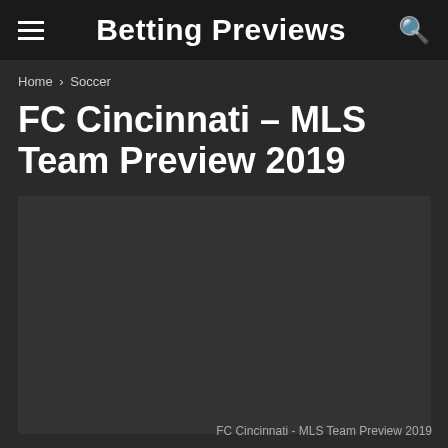Betting Previews
Home › Soccer
FC Cincinnati – MLS Team Preview 2019
[Figure (photo): Dark placeholder image area for FC Cincinnati MLS Team Preview 2019]
FC Cincinnati - MLS Team Preview 2019